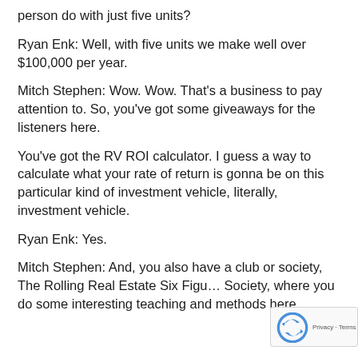person do with just five units?
Ryan Enk: Well, with five units we make well over $100,000 per year.
Mitch Stephen: Wow. Wow. That’s a business to pay attention to. So, you’ve got some giveaways for the listeners here.
You’ve got the RV ROI calculator. I guess a way to calculate what your rate of return is gonna be on this particular kind of investment vehicle, literally, investment vehicle.
Ryan Enk: Yes.
Mitch Stephen: And, you also have a club or society, The Rolling Real Estate Six Figu… Society, where you do some interesting teaching and methods here.